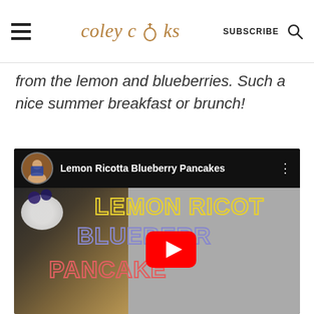coley cooks | SUBSCRIBE
from the lemon and blueberries. Such a nice summer breakfast or brunch!
[Figure (screenshot): YouTube video thumbnail for 'Lemon Ricotta Blueberry Pancakes' showing a food photo of pancakes with blueberries and whipped cream, with large outlined text LEMON RICOTTA BLUEBERRY PANCAKES and a YouTube play button overlay]